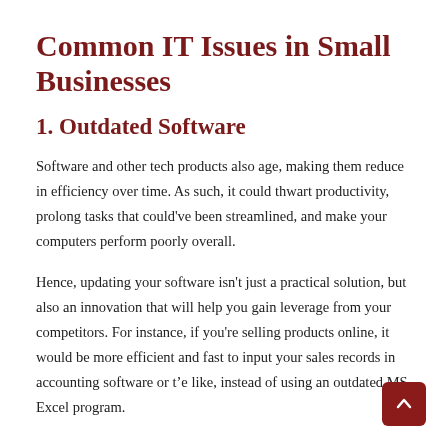Common IT Issues in Small Businesses
1. Outdated Software
Software and other tech products also age, making them reduce in efficiency over time. As such, it could thwart productivity, prolong tasks that could've been streamlined, and make your computers perform poorly overall.
Hence, updating your software isn't just a practical solution, but also an innovation that will help you gain leverage from your competitors. For instance, if you're selling products online, it would be more efficient and fast to input your sales records in accounting software or the like, instead of using an outdated MS Excel program.